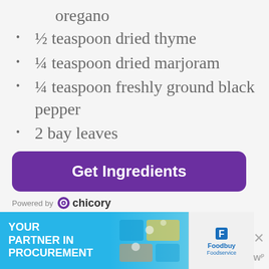oregano
½ teaspoon dried thyme
¼ teaspoon dried marjoram
¼ teaspoon freshly ground black pepper
2 bay leaves
Get Ingredients
Powered by chicory
[Figure (screenshot): Advertisement banner: 'YOUR PARTNER IN PROCUREMENT' with Foodbuy Foodservice logo and puzzle pieces image on a light blue background]